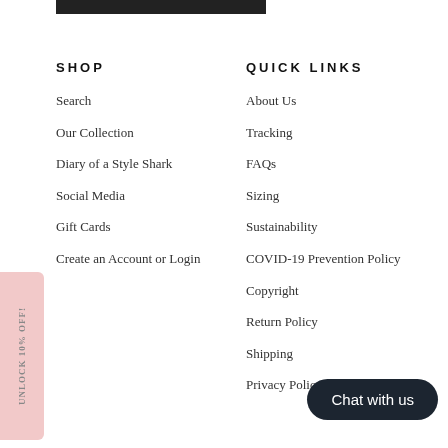SHOP
Search
Our Collection
Diary of a Style Shark
Social Media
Gift Cards
Create an Account or Login
QUICK LINKS
About Us
Tracking
FAQs
Sizing
Sustainability
COVID-19 Prevention Policy
Copyright
Return Policy
Shipping
Privacy Policy